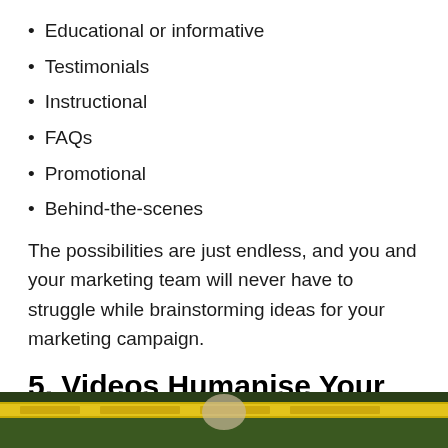Educational or informative
Testimonials
Instructional
FAQs
Promotional
Behind-the-scenes
The possibilities are just endless, and you and your marketing team will never have to struggle while brainstorming ideas for your marketing campaign.
5. Videos Humanise Your Brand/Give It a Face
[Figure (photo): Bottom strip of a photo showing a person outdoors with green grass/field background and a yellow banner or tape visible]